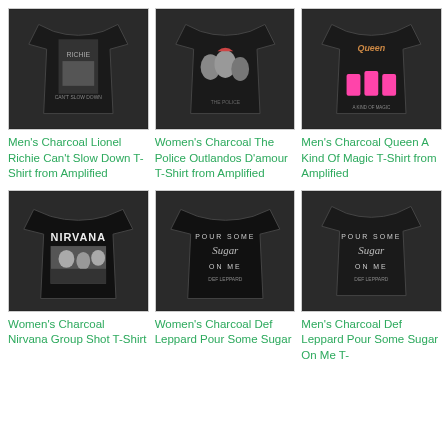[Figure (photo): Men's charcoal t-shirt with Lionel Richie Can't Slow Down graphic]
Men's Charcoal Lionel Richie Can't Slow Down T-Shirt from Amplified
[Figure (photo): Women's charcoal t-shirt with The Police Outlandos D'amour graphic]
Women's Charcoal The Police Outlandos D'amour T-Shirt from Amplified
[Figure (photo): Men's charcoal t-shirt with Queen A Kind Of Magic graphic]
Men's Charcoal Queen A Kind Of Magic T-Shirt from Amplified
[Figure (photo): Women's charcoal Nirvana Group Shot t-shirt]
Women's Charcoal Nirvana Group Shot T-Shirt
[Figure (photo): Women's charcoal Def Leppard Pour Some Sugar on Me t-shirt]
Women's Charcoal Def Leppard Pour Some Sugar
[Figure (photo): Men's charcoal Def Leppard Pour Some Sugar On Me t-shirt]
Men's Charcoal Def Leppard Pour Some Sugar On Me T-